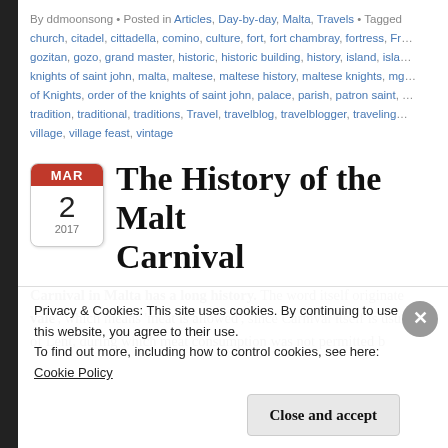By ddmoonsong • Posted in Articles, Day-by-day, Malta, Travels • Tagged church, citadel, cittadella, comino, culture, fort, fort chambray, fortress, Fr… gozitan, gozo, grand master, historic, historic building, history, island, isla… knights of saint john, malta, maltese, maltese history, maltese knights, mg… of Knights, order of the knights of saint john, palace, parish, patron saint, … tradition, traditional, traditions, Travel, travelblog, travelblogger, traveling… village, village feast, vintage
The History of the Malta Carnival
Carnival in Malta has a long history. The word itself originate 'vale', which means 'meat is allowed', since Carnival itself is usu of Lent, during which meat consumption was not permitted b…
Privacy & Cookies: This site uses cookies. By continuing to use this website, you agree to their use.
To find out more, including how to control cookies, see here:
Cookie Policy